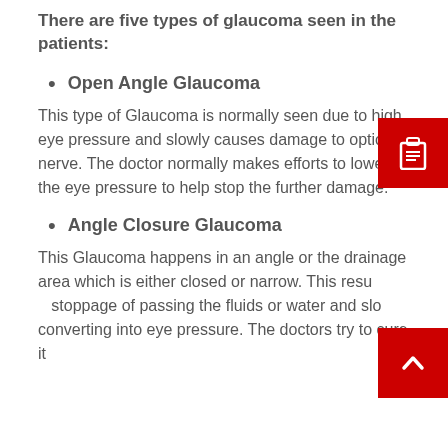There are five types of glaucoma seen in the patients:
Open Angle Glaucoma
This type of Glaucoma is normally seen due to high eye pressure and slowly causes damage to optic nerve. The doctor normally makes efforts to lower the eye pressure to help stop the further damage.
Angle Closure Glaucoma
This Glaucoma happens in an angle or the drainage area which is either closed or narrow. This results in a stoppage of passing the fluids or water and slowly converting into eye pressure. The doctors try to cure it